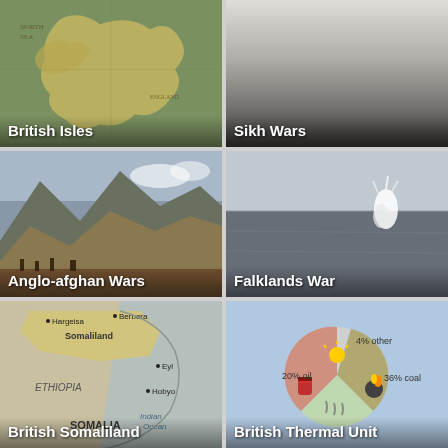[Figure (photo): Antique map of British Isles]
British Isles
[Figure (photo): Dark smoky scene representing Sikh Wars]
Sikh Wars
[Figure (photo): Mountain battle landscape representing Anglo-afghan Wars]
Anglo-afghan Wars
[Figure (photo): Grey sea with explosion representing Falklands War]
Falklands War
[Figure (map): Map showing British Somaliland, Ethiopia, Somalia region with cities Hargeisa, Berbera, Eyl, Hobyo]
British Somaliland
[Figure (pie-chart): British Thermal Unit]
British Thermal Unit